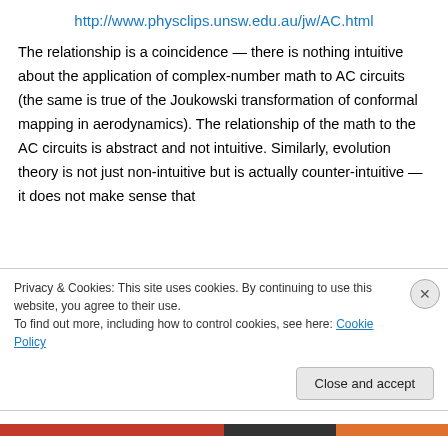http://www.physclips.unsw.edu.au/jw/AC.html
The relationship is a coincidence — there is nothing intuitive about the application of complex-number math to AC circuits (the same is true of the Joukowski transformation of conformal mapping in aerodynamics). The relationship of the math to the AC circuits is abstract and not intuitive. Similarly, evolution theory is not just non-intuitive but is actually counter-intuitive — it does not make sense that
Privacy & Cookies: This site uses cookies. By continuing to use this website, you agree to their use.
To find out more, including how to control cookies, see here: Cookie Policy
Close and accept